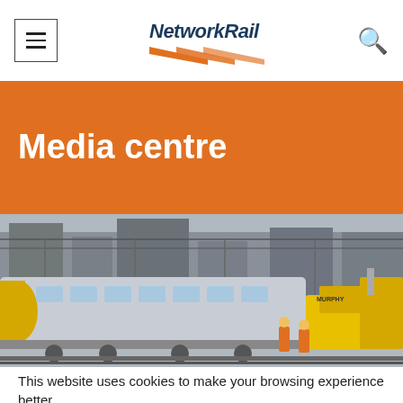NetworkRail — hamburger menu and search icon
Media centre
[Figure (photo): A modern yellow-fronted passenger train alongside railway maintenance vehicles and workers in high-visibility orange jackets, with overhead gantries and urban buildings in the background.]
This website uses cookies to make your browsing experience better.